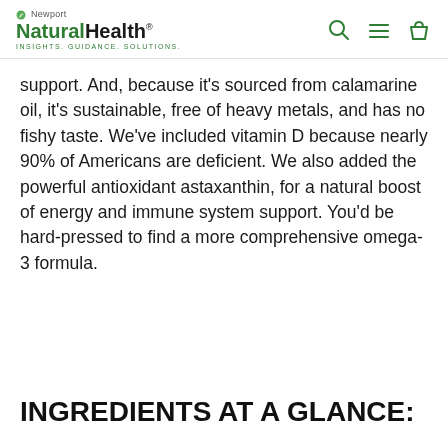Newport NaturalHealth® INSIGHTS. GUIDANCE. SOLUTIONS.
support. And, because it's sourced from calamarine oil, it's sustainable, free of heavy metals, and has no fishy taste. We've included vitamin D because nearly 90% of Americans are deficient. We also added the powerful antioxidant astaxanthin, for a natural boost of energy and immune system support. You'd be hard-pressed to find a more comprehensive omega-3 formula.
INGREDIENTS AT A GLANCE: